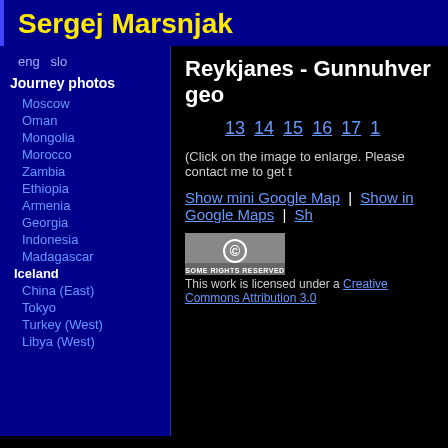Sergej Marsnjak
eng   slo
Journey photos
Moscow
Oman
Mongolia
Morocco
Zambia
Ethiopia
Armenia
Georgia
Indonesia
Madagascar
Iceland
China (East)
Tokyo
Turkey (West)
Libya (West)
Reykjanes - Gunnuhver geo
13  14  15  16  17  1
(Click on the image to enlarge. Please contact me to get t
Show mini Google Map | Show in Google Maps | Sh
[Figure (other): Creative Commons Some Rights Reserved badge]
This work is licensed under a Creative Commons Attribution 3.0